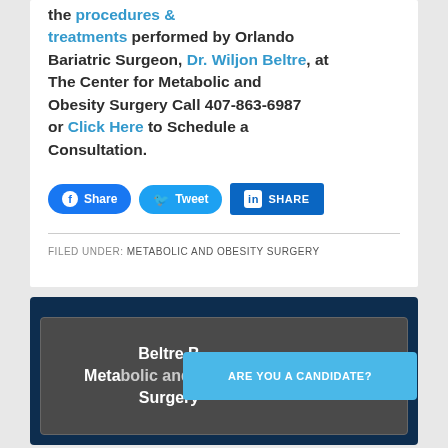the procedures & treatments performed by Orlando Bariatric Surgeon, Dr. Wiljon Beltre, at The Center for Metabolic and Obesity Surgery Call 407-863-6987 or Click Here to Schedule a Consultation.
[Figure (other): Social share buttons: Facebook Share, Twitter Tweet, LinkedIn SHARE]
FILED UNDER: METABOLIC AND OBESITY SURGERY
Beltre Bariatric Metabolic and Obesity Surgery
ARE YOU A CANDIDATE?